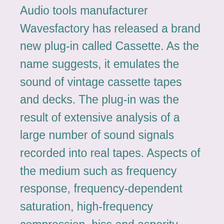Audio tools manufacturer Wavesfactory has released a brand new plug-in called Cassette. As the name suggests, it emulates the sound of vintage cassette tapes and decks. The plug-in was the result of extensive analysis of a large number of sound signals recorded into real tapes. Aspects of the medium such as frequency response, frequency-dependent saturation, high-frequency compression, hiss and asperity noise were all captured and are recreated with Cassette.
Going back in time
Compared to digital mediums, cassette tape carries an unmistakably quirky flavour due to its